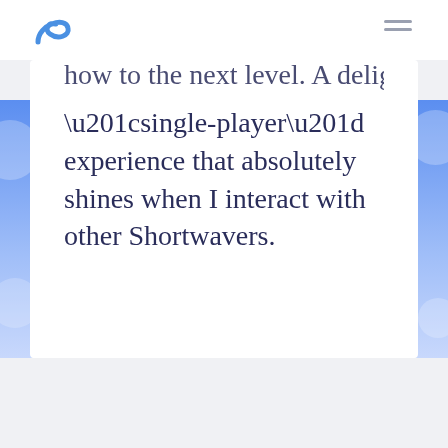[Figure (logo): Shortwave app logo — blue curved boomerang/wave shape]
how to the next level. A delightful “single-player” experience that absolutely shines when I interact with other Shortwavers.